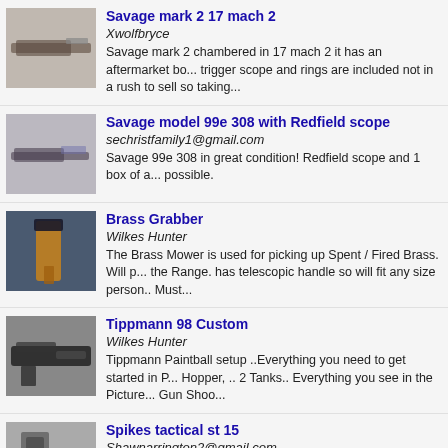Savage mark 2 17 mach 2 | Xwolfbryce | Savage mark 2 chambered in 17 mach 2 it has an aftermarket bo... trigger scope and rings are included not in a rush to sell so taking...
Savage model 99e 308 with Redfield scope | sechristfamily1@gmail.com | Savage 99e 308 in great condition! Redfield scope and 1 box of a... possible.
Brass Grabber | Wilkes Hunter | The Brass Mower is used for picking up Spent / Fired Brass. Will p... the Range. has telescopic handle so will fit any size person.. Must...
Tippmann 98 Custom | Wilkes Hunter | Tippmann Paintball setup ..Everything you need to get started in P... Hopper, .. 2 Tanks.. Everything you see in the Picture... Gun Shoo...
Spikes tactical st 15 | Shawnarrington2@gmail.com | Like new Spikes tactical ST-15. 5.56. With trijicon RM06 optic and... have? Will separate the rifle and optic for the right price or trade o...